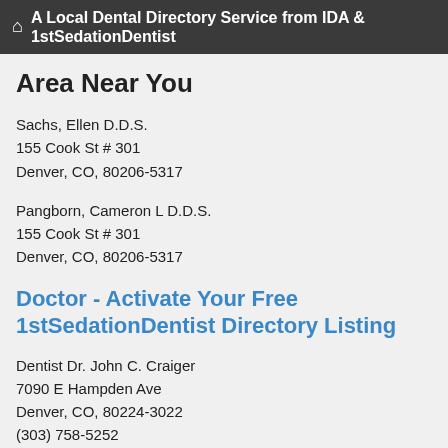A Local Dental Directory Service from IDA & 1stSedationDentist
Area Near You
Sachs, Ellen D.D.S.
155 Cook St # 301
Denver, CO, 80206-5317
Pangborn, Cameron L D.D.S.
155 Cook St # 301
Denver, CO, 80206-5317
Doctor - Activate Your Free 1stSedationDentist Directory Listing
Dentist Dr. John C. Craiger
7090 E Hampden Ave
Denver, CO, 80224-3022
(303) 758-5252
Miles B Collett
1555 S Wadsworth Blvd Ste 1
Denver, CO, 80232-6830